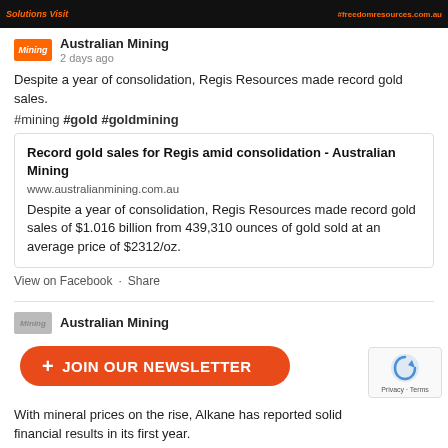[Figure (screenshot): Dark banner with orange text showing 'Solutions Visit' on left and a URL on right]
Australian Mining
2 days ago
Despite a year of consolidation, Regis Resources made record gold sales.
#mining #gold #goldmining
Record gold gold sales for Regis amid consolidation - Australian Mining
www.australianmining.com.au
Despite a year of consolidation, Regis Resources made record gold sales of $1.016 billion from 439,310 ounces of gold sold at an average price of $2312/oz.
View on Facebook · Share
Australian Mining
With mineral prices on the rise, Alkane has reported solid financial results in its first year.